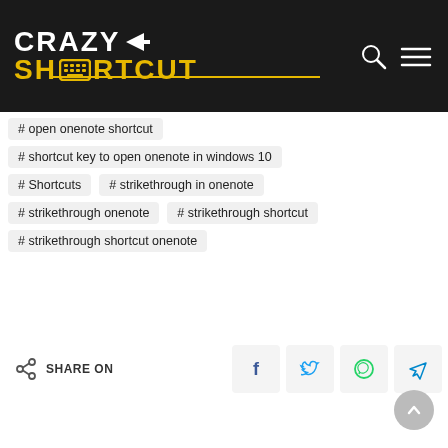[Figure (logo): CrazyShortcut website logo with arrow and keyboard icon on dark background]
#open onenote shortcut
#shortcut key to open onenote in windows 10
#Shortcuts   #strikethrough in onenote
#strikethrough onenote   #strikethrough shortcut
#strikethrough shortcut onenote
SHARE ON